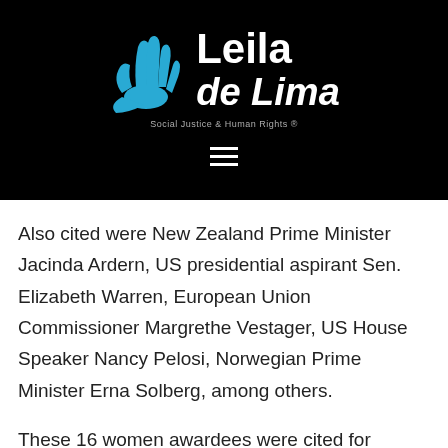[Figure (logo): Leila de Lima logo — blue hand icon with white stylized text 'Leila de Lima' and tagline 'Social Justice & Human Rights' on black background]
Also cited were New Zealand Prime Minister Jacinda Ardern, US presidential aspirant Sen. Elizabeth Warren, European Union Commissioner Margrethe Vestager, US House Speaker Nancy Pelosi, Norwegian Prime Minister Erna Solberg, among others.
These 16 women awardees were cited for breaking “new ground in 2019 or brought attention